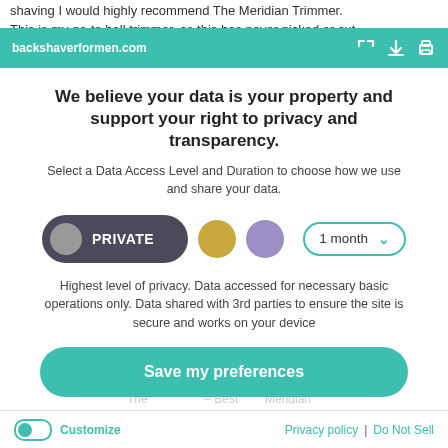shaving I would highly recommend The Meridian Trimmer. This is my go-to ball trimmer, as this has never nicked or cut
backshaverformen.com
We believe your data is your property and support your right to privacy and transparency.
Select a Data Access Level and Duration to choose how we use and share your data.
PRIVATE | 1 month
Highest level of privacy. Data accessed for necessary basic operations only. Data shared with 3rd parties to ensure the site is secure and works on your device
Save my preferences
Customize | Privacy policy | Do Not Sell